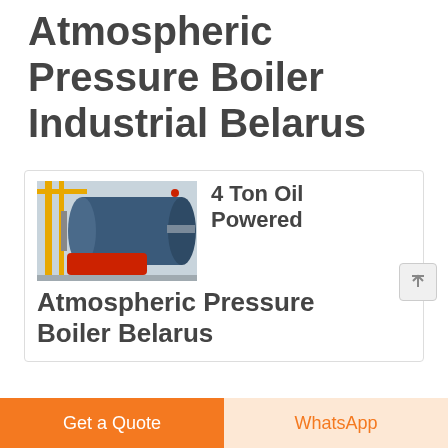Atmospheric Pressure Boiler Industrial Belarus
[Figure (photo): Industrial atmospheric pressure oil-powered boiler with yellow frame, blue cylindrical vessel, red base, in a factory setting]
4 Ton Oil Powered
Atmospheric Pressure Boiler Belarus
Get a Quote
WhatsApp